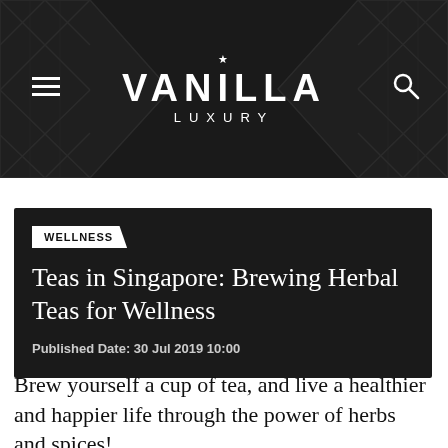VANILLA LUXURY
WELLNESS
Teas in Singapore: Brewing Herbal Teas for Wellness
Published Date: 30 Jul 2019 10:00
Brew yourself a cup of tea, and live a healthier and happier life through the power of herbs and spices!